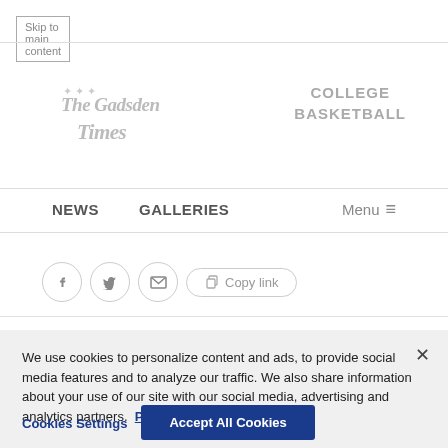Skip to main content
[Figure (logo): The Gadsden Times newspaper logo in decorative serif/gothic font]
COLLEGE BASKETBALL
NEWS   GALLERIES   Menu
[Figure (infographic): Social sharing buttons: Facebook, Twitter, Email, Copy link]
We use cookies to personalize content and ads, to provide social media features and to analyze our traffic. We also share information about your use of our site with our social media, advertising and analytics partners.  Privacy Policy
Cookies Settings   Accept All Cookies